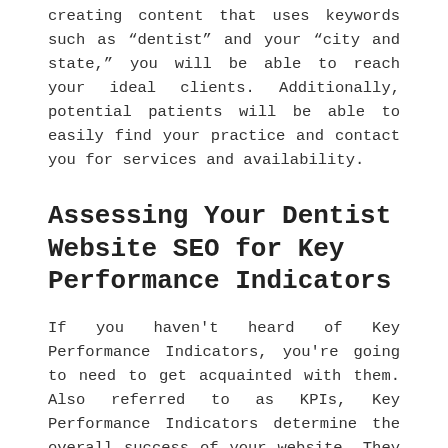creating content that uses keywords such as "dentist" and your "city and state," you will be able to reach your ideal clients. Additionally, potential patients will be able to easily find your practice and contact you for services and availability.
Assessing Your Dentist Website SEO for Key Performance Indicators
If you haven't heard of Key Performance Indicators, you're going to need to get acquainted with them. Also referred to as KPIs, Key Performance Indicators determine the overall success of your website. They will tell you all the information you need to know to track and monitor your SEO progress. Be sure your digital marketing team is monitors and tracks the following KPIs: